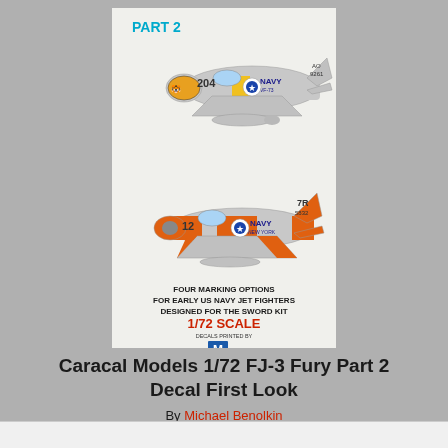[Figure (illustration): Caracal Models 1/72 FJ-3 Fury Part 2 decal sheet box art showing two Navy jet fighters — one grey with yellow stripe (204, AO 9261, NAVY VF-73) and one orange/white trainer scheme (12, 7R 5832, NAVY NEW YORK). Text reads: FOUR MARKING OPTIONS FOR EARLY US NAVY JET FIGHTERS DESIGNED FOR THE SWORD KIT, 1/72 SCALE, DECALS PRINTED BY [M logo], COPYRIGHT 2018 CARACAL MODELS · ALL RIGHTS RESERVED]
Caracal Models 1/72 FJ-3 Fury Part 2 Decal First Look
By Michael Benolkin